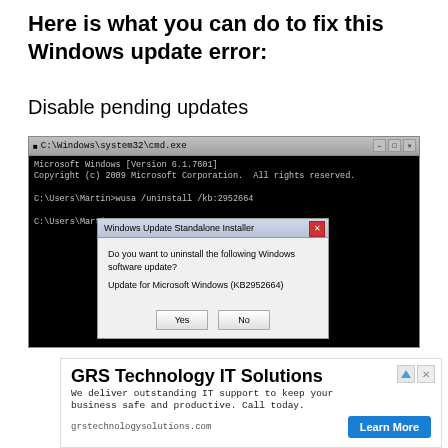Here is what you can do to fix this Windows update error:
Disable pending updates
[Figure (screenshot): Windows CMD window showing 'wusa /uninstall /kb:2952664' command with a 'Windows Update Standalone Installer' dialog asking 'Do you want to uninstall the following Windows software update? Update for Microsoft Windows (KB2952664)' with Yes and No buttons.]
[Figure (other): Advertisement for GRS Technology IT Solutions. Text: 'We deliver outstanding IT support to keep your business safe and productive. Call today.' URL: grstechnologysolutions.com. Button: Learn More]